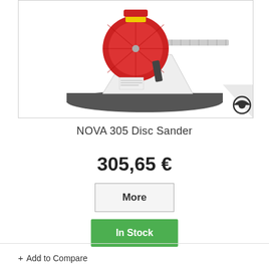[Figure (photo): NOVA 305 Disc Sander product photo showing a red and white disc sander with a grey base on a white background]
NOVA 305 Disc Sander
305,65 €
More
In Stock
+ Add to Compare